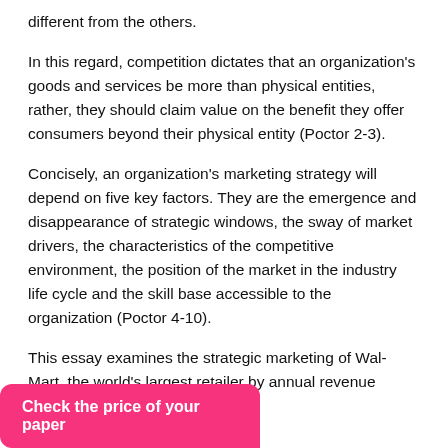different from the others.
In this regard, competition dictates that an organization's goods and services be more than physical entities, rather, they should claim value on the benefit they offer consumers beyond their physical entity (Poctor 2-3).
Concisely, an organization's marketing strategy will depend on five key factors. They are the emergence and disappearance of strategic windows, the sway of market drivers, the characteristics of the competitive environment, the position of the market in the industry life cycle and the skill base accessible to the organization (Poctor 4-10).
This essay examines the strategic marketing of Wal-Mart, the world's largest retailer by annual revenue
Check the price of your paper